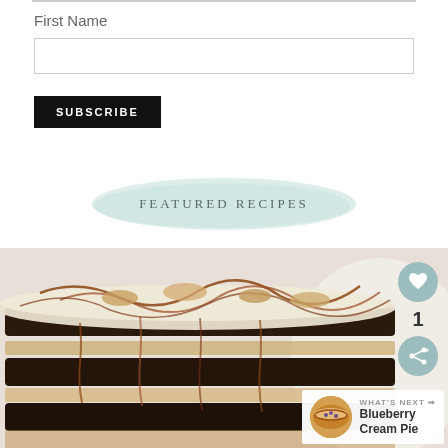First Name
[Figure (screenshot): Empty text input field with border]
[Figure (screenshot): SUBSCRIBE button, black background with white uppercase text]
FEATURED RECIPES
[Figure (photo): Layered chocolate cake with whipped cream frosting and caramel drizzle on top, shown from a close-up angle. A heart icon with count 1 and a share icon are overlaid on the right side. A 'What's Next' card at bottom right shows a Blueberry Cream Pie thumbnail.]
WHAT'S NEXT → Blueberry Cream Pie